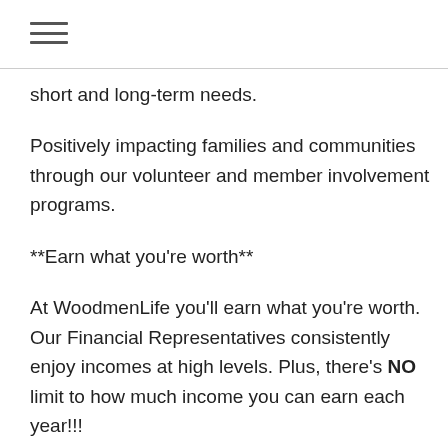≡
short and long-term needs.
Positively impacting families and communities through our volunteer and member involvement programs.
**Earn what you're worth**
At WoodmenLife you'll earn what you're worth. Our Financial Representatives consistently enjoy incomes at high levels. Plus, there's NO limit to how much income you can earn each year!!!